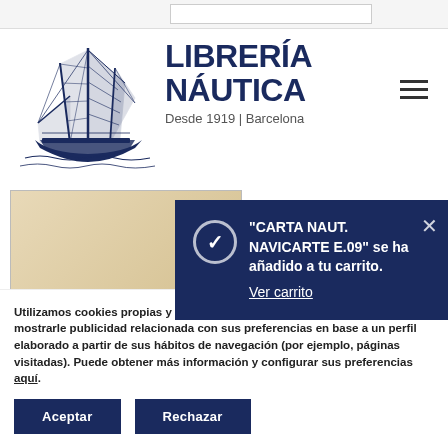[Figure (logo): Librería Náutica logo with sailing ship illustration and text 'LIBRERÍA NÁUTICA Desde 1919 | Barcelona']
CARTA IHM 4E IN... LAS DE CÓRCEG...
[Figure (screenshot): Cart notification popup: '"CARTA NAUT. NAVICARTE E.09" se ha añadido a tu carrito. Ver carrito' with close button on dark navy background]
Utilizamos cookies propias y de terceros para analizar nuestros servicios y mostrarle publicidad relacionada con sus preferencias en base a un perfil elaborado a partir de sus hábitos de navegación (por ejemplo, páginas visitadas). Puede obtener más información y configurar sus preferencias aquí.